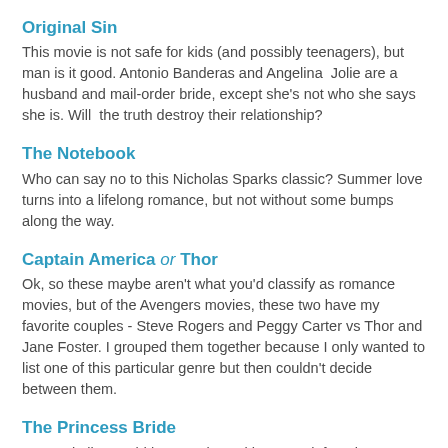Original Sin
This movie is not safe for kids (and possibly teenagers), but man is it good. Antonio Banderas and Angelina Jolie are a husband and mail-order bride, except she's not who she says she is. Will the truth destroy their relationship?
The Notebook
Who can say no to this Nicholas Sparks classic? Summer love turns into a lifelong romance, but not without some bumps along the way.
Captain America or Thor
Ok, so these maybe aren't what you'd classify as romance movies, but of the Avengers movies, these two have my favorite couples - Steve Rogers and Peggy Carter vs Thor and Jane Foster. I grouped them together because I only wanted to list one of this particular genre but then couldn't decide between them.
The Princess Bride
No movie list would be complete without a cult favorite. For